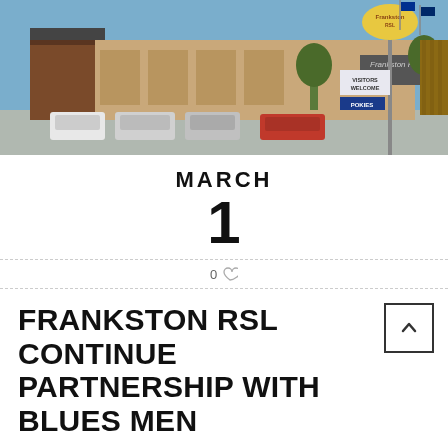[Figure (photo): Exterior photo of Frankston RSL building with signage, parking lot with cars, blue sky background, and Frankston RSL logo sign visible on right side]
MARCH
1
0 ♡
FRANKSTON RSL CONTINUE PARTNERSHIP WITH BLUES MEN
BY FDBA
IN FRANKSTON BLUES PARTNERS SENIOR MEN